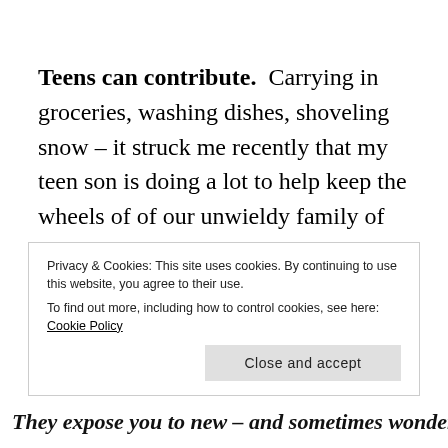Teens can contribute.  Carrying in groceries, washing dishes, shoveling snow – it struck me recently that my teen son is doing a lot to help keep the wheels of of our unwieldy family of of five moving forward. This is huge! A total sea change from the days of constant care and feeding of babies and small children when the parents are always, always DOING for the kids.  Sure, you often have to remind a teen to do a chore.  But if
Privacy & Cookies: This site uses cookies. By continuing to use this website, you agree to their use.
To find out more, including how to control cookies, see here: Cookie Policy
They expose you to new – and sometimes wonderful